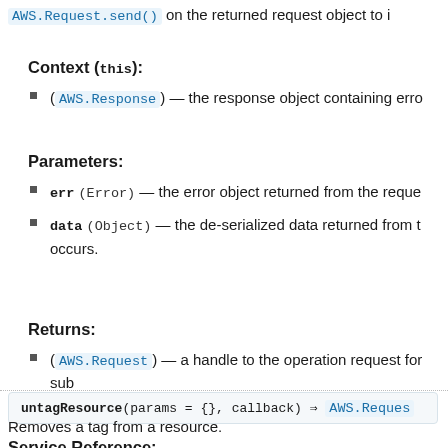AWS.Request.send() on the returned request object to i
Context (this):
(AWS.Response) — the response object containing erro
Parameters:
err (Error) — the error object returned from the reque
data (Object) — the de-serialized data returned from t occurs.
Returns:
(AWS.Request) — a handle to the operation request for sub
untagResource(params = {}, callback) ⇒ AWS.Reques
Removes a tag from a resource.
Service Reference: